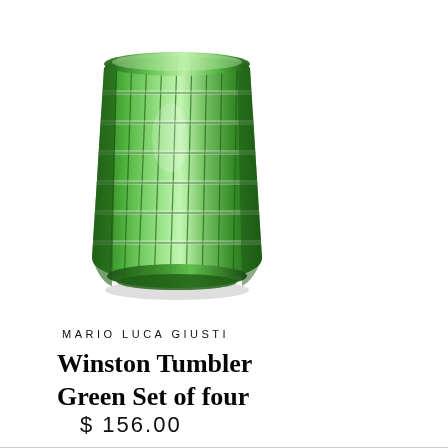[Figure (photo): A green cut-glass tumbler with a grid/cross-hatch pattern, photographed on a white background. The glass is barrel-shaped, wider at the top, with deep vertical and horizontal cuts creating a plaid texture.]
MARIO LUCA GIUSTI
Winston Tumbler Green Set of four
$ 156.00